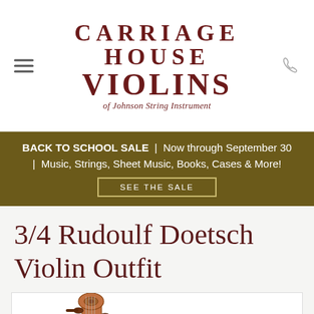CARRIAGE HOUSE VIOLINS of Johnson String Instrument
BACK TO SCHOOL SALE | Now through September 30 | Music, Strings, Sheet Music, Books, Cases & More! SEE THE SALE
3/4 Rudoulf Doetsch Violin Outfit
[Figure (photo): Partial view of a violin scroll and pegbox from the front, showing tuning pegs and the carved scroll. A TrustedSite Certified Secure badge appears in the lower right corner.]